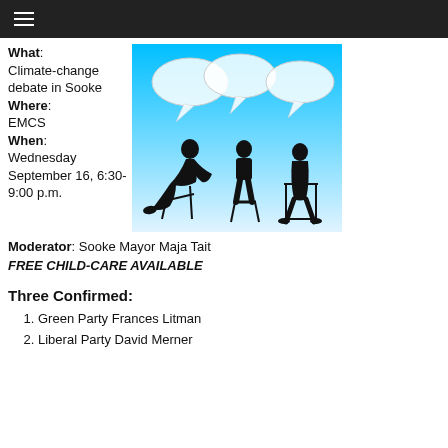≡
What: Climate-change debate in Sooke Where: EMCS When: Wednesday September 16, 6:30-9:00 p.m.
[Figure (illustration): Illustration of three silhouetted figures seated in chairs with speech bubbles above them on a blue-to-white gradient background, representing a panel debate.]
Moderator: Sooke Mayor Maja Tait
FREE CHILD-CARE AVAILABLE
Three Confirmed:
Green Party Frances Litman
Liberal Party David Merner